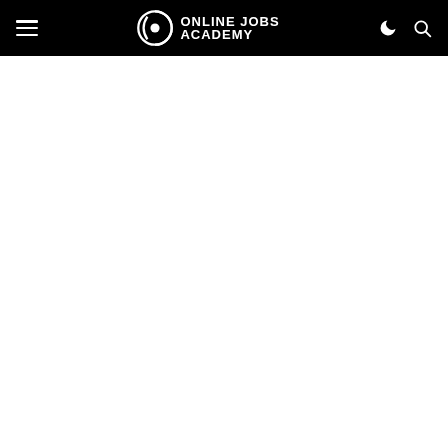Online Jobs Academy — navigation header with hamburger menu, logo, moon/dark-mode icon, search icon